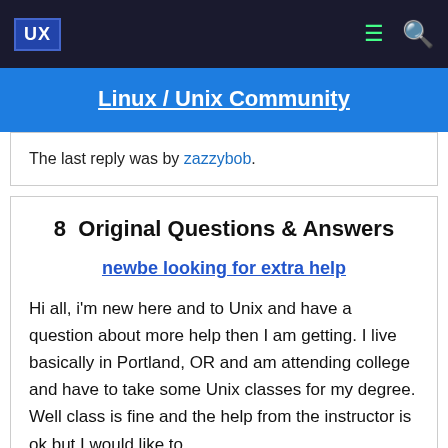UX | Linux / Unix Community
The last reply was by zazzybob.
8  Original Questions & Answers
newbe looking for extra help
Hi all, i'm new here and to Unix and have a question about more help then I am getting. I live basically in Portland, OR and am attending college and have to take some Unix classes for my degree. Well class is fine and the help from the instructor is ok but I would like to